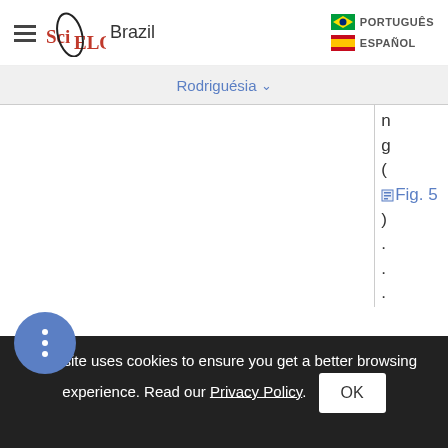SciELO Brazil — PORTUGUÊS | ESPAÑOL navigation
Rodriguésia ▾
n g ( Fig. 5 ) . . . . . . . .
This site uses cookies to ensure you get a better browsing experience. Read our Privacy Policy. OK